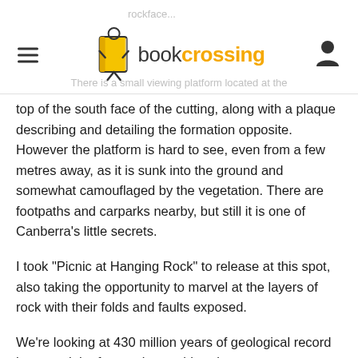bookcrossing
rockface... There is a small viewing platform located at the top of the south face of the cutting, along with a plaque describing and detailing the formation opposite. However the platform is hard to see, even from a few metres away, as it is sunk into the ground and somewhat camouflaged by the vegetation. There are footpaths and carparks nearby, but still it is one of Canberra's little secrets.
I took "Picnic at Hanging Rock" to release at this spot, also taking the opportunity to marvel at the layers of rock with their folds and faults exposed.
We're looking at 430 million years of geological record here, and the feature is considered so